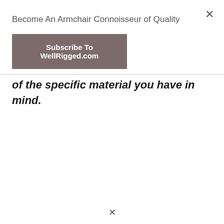×
Become An Armchair Connoisseur of Quality
Subscribe To WellRigged.com
of the specific material you have in mind.
×